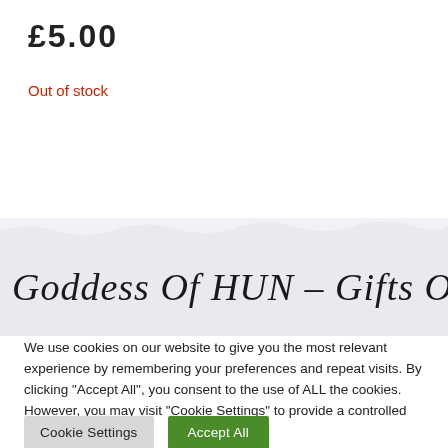£5.00
Out of stock
[Figure (photo): Handwritten text on paper reading 'Goddess Of HUN - Gifts Of Love']
We use cookies on our website to give you the most relevant experience by remembering your preferences and repeat visits. By clicking "Accept All", you consent to the use of ALL the cookies. However, you may visit "Cookie Settings" to provide a controlled consent.
Cookie Settings   Accept All